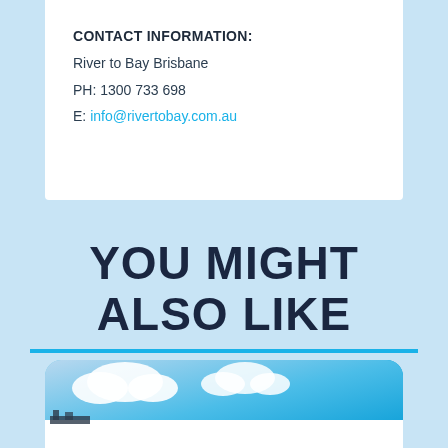CONTACT INFORMATION:
River to Bay Brisbane
PH: 1300 733 698
E: info@rivertobay.com.au
YOU MIGHT ALSO LIKE
[Figure (photo): Partial view of a photo card showing a blue sky with clouds, with a white area at the bottom, rounded top corners]